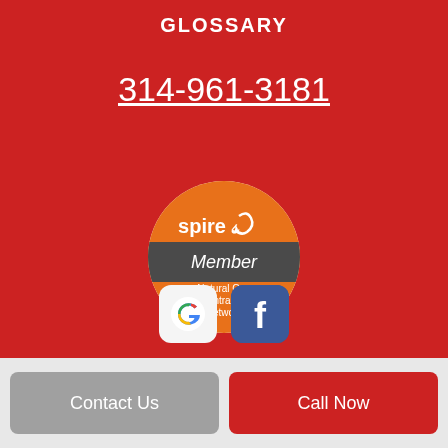GLOSSARY
314-961-3181
[Figure (logo): Spire Member Natural Gas Contractor Network badge - circular badge with orange top/bottom sections and dark gray middle band]
[Figure (logo): Google icon - white rounded square with colorful G logo]
[Figure (logo): Facebook icon - blue rounded square with white f logo]
Contact Us | Call Now